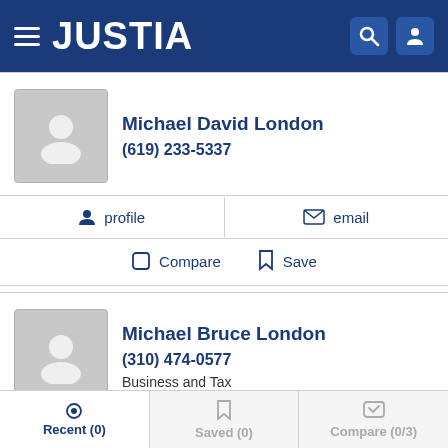JUSTIA
Michael David London
(619) 233-5337
profile  email
Compare  Save
Michael Bruce London
(310) 474-0577
Business and Tax
profile
Recent (0)  Saved (0)  Compare (0/3)